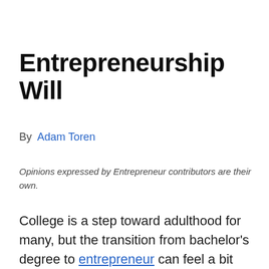Entrepreneurship Will
By Adam Toren
Opinions expressed by Entrepreneur contributors are their own.
College is a step toward adulthood for many, but the transition from bachelor's degree to entrepreneur can feel a bit jarring. Keeping your chin up, a stiff upper-lip and other